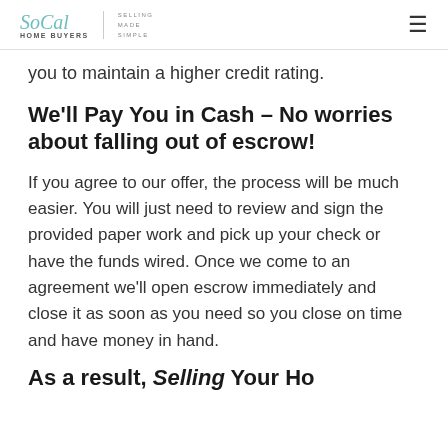SoCal Home Buyers | Selling Made Simple
you to maintain a higher credit rating.
We'll Pay You in Cash – No worries about falling out of escrow!
If you agree to our offer, the process will be much easier. You will just need to review and sign the provided paper work and pick up your check or have the funds wired. Once we come to an agreement we'll open escrow immediately and close it as soon as you need so you close on time and have money in hand.
As a result, Selling Your Home...